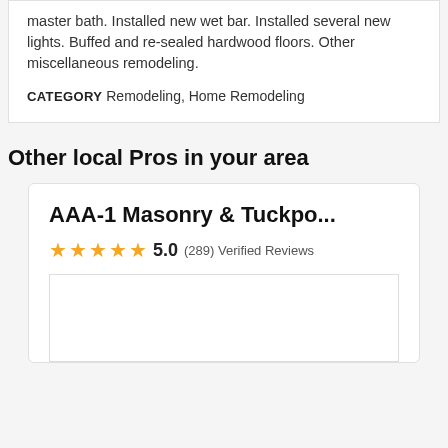master bath. Installed new wet bar. Installed several new lights. Buffed and re-sealed hardwood floors. Other miscellaneous remodeling.
CATEGORY Remodeling, Home Remodeling
Other local Pros in your area
AAA-1 Masonry & Tuckpo...
5.0 (289) Verified Reviews